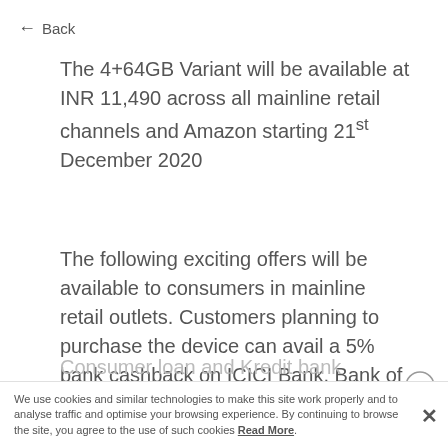← Back
The 4+64GB Variant will be available at INR 11,490 across all mainline retail channels and Amazon starting 21st December 2020
The following exciting offers will be available to consumers in mainline retail outlets. Customers planning to purchase the device can avail a 5% bank cashback on ICICI Bank, Bank of Baroda, Federal bank and Zest Money with No cost EMI upto 6 months along with exciting zero down payment finance schemes on Bajaj Finserv, IDFC First...
We use cookies and similar technologies to make this site work properly and to analyse traffic and optimise your browsing experience. By continuing to browse the site, you agree to the use of such cookies Read More.